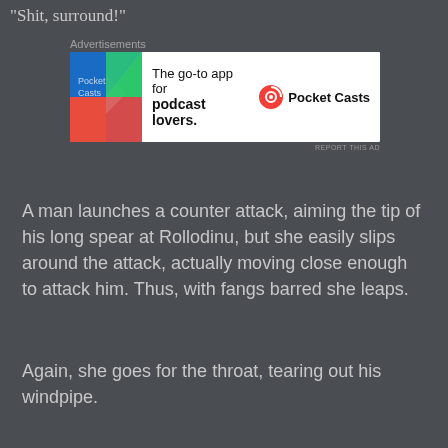"Shit, surround!"
[Figure (other): Pocket Casts advertisement banner: 'The go-to app for podcast lovers.' with Pocket Casts logo]
A man launches a counter attack, aiming the tip of his long spear at Rollodinu, but she easily slips around the attack, actually moving close enough to attack him. Thus, with fangs barred she leaps.
Again, she goes for the throat, tearing out his windpipe.